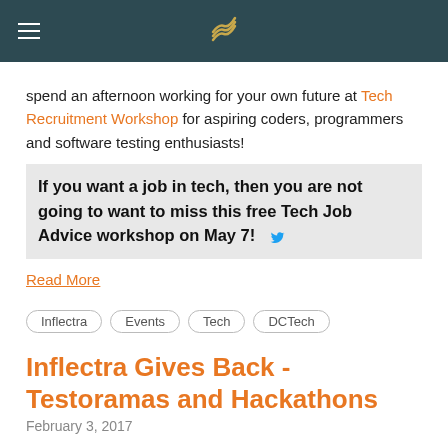[navbar with logo]
spend an afternoon working for your own future at Tech Recruitment Workshop for aspiring coders, programmers and software testing enthusiasts!
If you want a job in tech, then you are not going to want to miss this free Tech Job Advice workshop on May 7!
Read More
Inflectra
Events
Tech
DCTech
Inflectra Gives Back - Testoramas and Hackathons
February 3, 2017